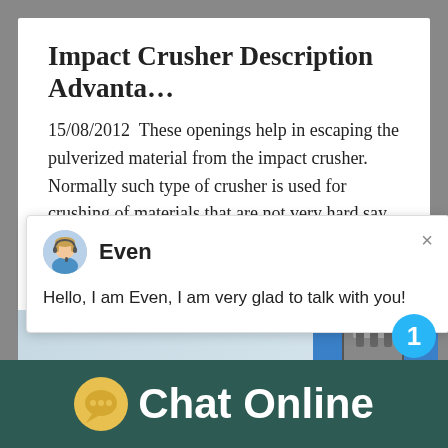Impact Crusher Description Advanta…
15/08/2012  These openings help in escaping the pulverized material from the impact crusher. Normally such type of crusher is used for crushing of materials that are not very hard say “soft material” and materials that are
[Figure (screenshot): Chat popup widget showing avatar of 'Even' with close button (×) and message: Hello, I am Even, I am very glad to talk with you!]
[Figure (photo): Industrial machine/crusher image on right side with notification badge showing '1' and 'Click me to chat>>' button below]
Chat Online